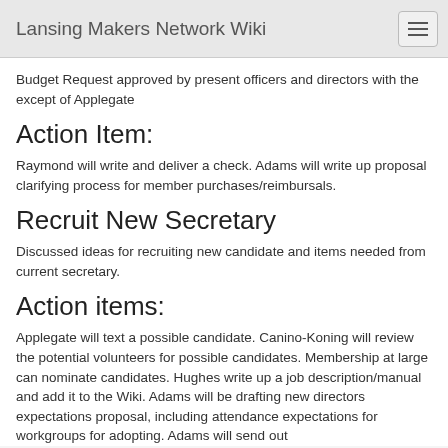Lansing Makers Network Wiki
Budget Request approved by present officers and directors with the except of Applegate
Action Item:
Raymond will write and deliver a check. Adams will write up proposal clarifying process for member purchases/reimbursals.
Recruit New Secretary
Discussed ideas for recruiting new candidate and items needed from current secretary.
Action items:
Applegate will text a possible candidate. Canino-Koning will review the potential volunteers for possible candidates. Membership at large can nominate candidates. Hughes write up a job description/manual and add it to the Wiki. Adams will be drafting new directors expectations proposal, including attendance expectations for workgroups for adopting. Adams will send out